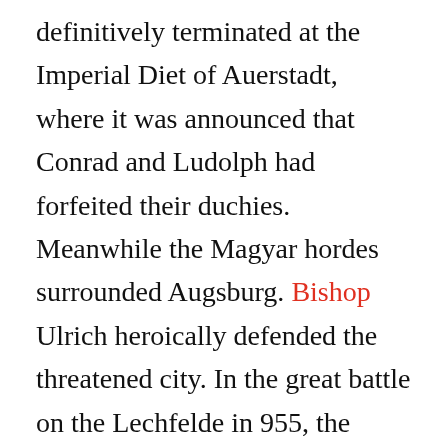definitively terminated at the Imperial Diet of Auerstadt, where it was announced that Conrad and Ludolph had forfeited their duchies. Meanwhile the Magyar hordes surrounded Augsburg. Bishop Ulrich heroically defended the threatened city. In the great battle on the Lechfelde in 955, the Hungarian army was completely routed by Otto, who had advanced to the defence of the city. By this victory he freed Germany finally from the Hungarian peril. It marked a crisis in the history of the Magyar race, which now became independent and founded an empire with definite boundaries. It also caused Otto to realize that his great object of preventing the participation of power with the duchies was not attainable by